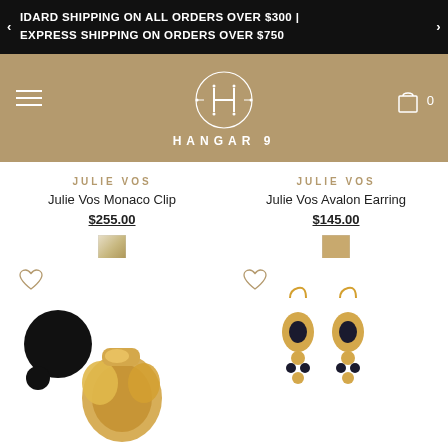IDARD SHIPPING ON ALL ORDERS OVER $300 | EXPRESS SHIPPING ON ORDERS OVER $750
[Figure (logo): Hangar9 logo with H monogram in circle on gold background, HANGAR 9 brand name below]
JULIE VOS
Julie Vos Monaco Clip
$255.00
JULIE VOS
Julie Vos Avalon Earring
$145.00
[Figure (photo): Julie Vos Monaco Clip gold earring jewelry photo]
[Figure (photo): Julie Vos Avalon Earring gold drop earrings with dark stone accents photo]